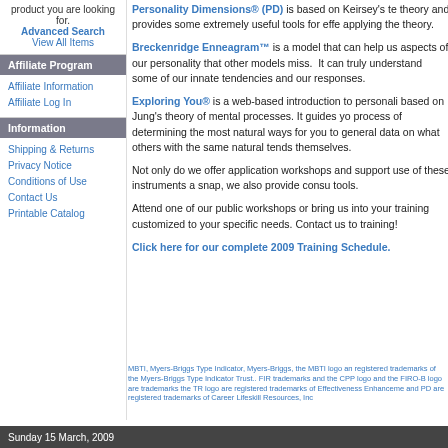product you are looking for.
Advanced Search
View All Items
Affiliate Program
Affiliate Information
Affiliate Log In
Information
Shipping & Returns
Privacy Notice
Conditions of Use
Contact Us
Printable Catalog
Personality Dimensions® (PD) is based on Keirsey's theory and provides some extremely useful tools for applying the theory.
Breckenridge Enneagram™ is a model that can help us aspects of our personality that other models miss. It can truly understand some of our innate tendencies and our responses.
Exploring You® is a web-based introduction to personality based on Jung's theory of mental processes. It guides you process of determining the most natural ways for you to general data on what others with the same natural tendencies themselves.
Not only do we offer application workshops and support use of these instruments a snap, we also provide consulting tools.
Attend one of our public workshops or bring us into your training customized to your specific needs. Contact us to training!
Click here for our complete 2009 Training Schedule.
MBTI, Myers-Briggs Type Indicator, Myers-Briggs, the MBTI logo and registered trademarks of the Myers-Briggs Type Indicator Trust.. FIR trademarks and the CPP logo and the FIRO-B logo are trademarks the TR logo are registered trademarks of Effectiveness Enhancement and PD are registered trademarks of Career Lifeskill Resources, Inc
Sunday 15 March, 2009